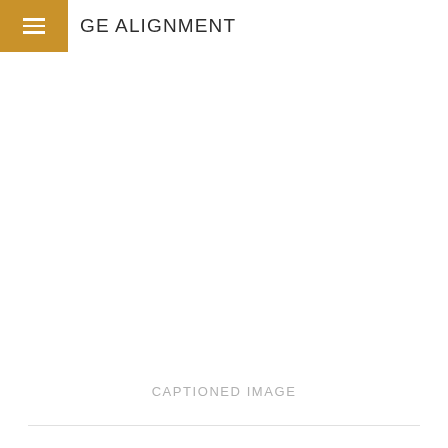GE ALIGNMENT
[Figure (other): Empty white image area placeholder labeled CAPTIONED IMAGE]
CAPTIONED IMAGE